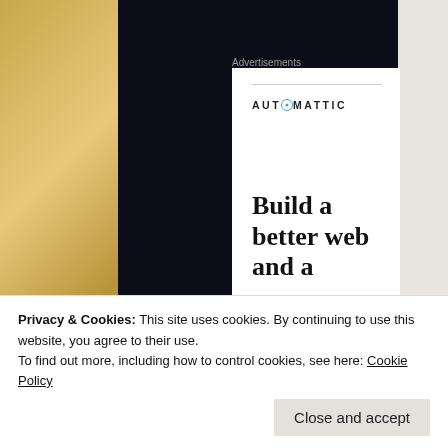[Figure (screenshot): Screenshot of a webpage showing an Automattic advertisement with dark background. The ad card shows the Automattic logo and tagline 'Build a better web and a'. There is a golden/marble texture sidebar on the left and a light gray sidebar on the right.]
Advertisements
AUTOMATTIC
Build a better web and a
Privacy & Cookies: This site uses cookies. By continuing to use this website, you agree to their use.
To find out more, including how to control cookies, see here: Cookie Policy
Close and accept